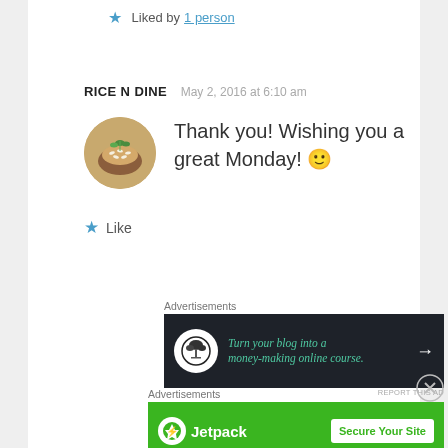★ Liked by 1 person
RICE N DINE   May 2, 2016 at 6:10 am
Thank you! Wishing you a great Monday! 🙂
★ Like
Advertisements
[Figure (screenshot): Dark advertisement banner: Turn your blog into a money-making online course. with arrow and bonsai tree logo circle]
REPORT THIS AD
Advertisements
[Figure (screenshot): Green Jetpack advertisement banner with Secure Your Site button]